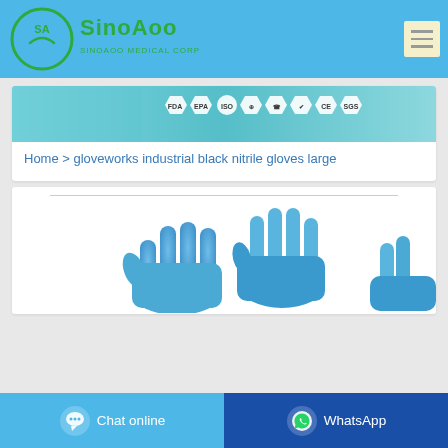SinoAoo - SINOAOO MEDICAL CORP
[Figure (screenshot): Website screenshot showing SinoAoo Medical Corp logo on blue header with hamburger menu, certification badges banner (FDA, EPA, CE, SGS), breadcrumb navigation, and blue nitrile gloves product image with Chat online and WhatsApp buttons at bottom]
Home > gloveworks industrial black nitrile gloves large